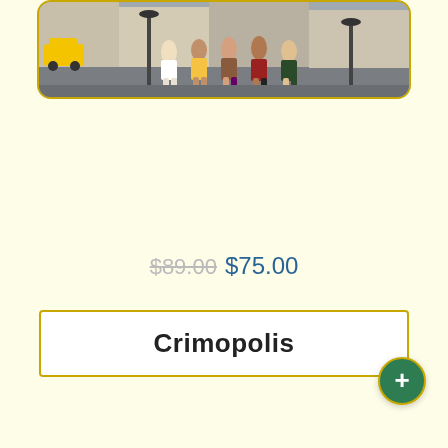[Figure (photo): Top portion of a product listing card showing a group of people on a city street — Crimopolis board game cover art]
Crimopolis
$89.00 $75.00
[Figure (photo): Point Salad board game cover art — green background with 'POINT SALAD' logo on a dark green badge shape, credits for Molly Johnson, Robert Melvin, Shawn Stankewich]